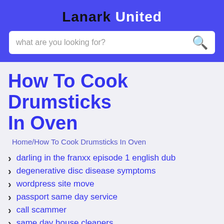Lanark United
what are you looking for?
How To Cook Drumsticks In Oven
Home/How To Cook Drumsticks In Oven
darling in the franxx episode 1 english dub
degenerative disc disease symptoms
wordpress site move
passport same day service
call scammer
same day house cleaners
rutgers student portal